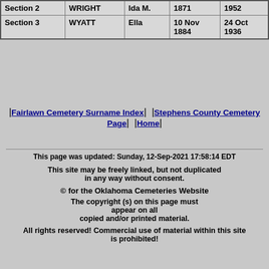| Section | Surname | First Name | Birth | Death |
| --- | --- | --- | --- | --- |
| Section 2 | WRIGHT | Ida M. | 1871 | 1952 |
| Section 3 | WYATT | Ella | 10 Nov 1884 | 24 Oct 1936 |
|Fairlawn Cemetery Surname Index|  |Stephens County Cemetery Page|  |Home|
This page was updated: Sunday, 12-Sep-2021 17:58:14 EDT
This site may be freely linked, but not duplicated in any way without consent.
© for the Oklahoma Cemeteries Website
The copyright (s) on this page must appear on all copied and/or printed material.
All rights reserved! Commercial use of material within this site is prohibited!